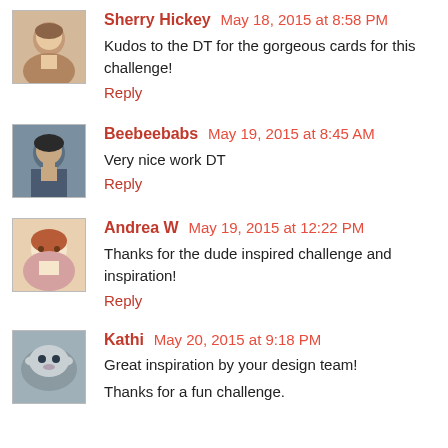Sherry Hickey May 18, 2015 at 8:58 PM
Kudos to the DT for the gorgeous cards for this challenge!
Reply
Beebeebabs May 19, 2015 at 8:45 AM
Very nice work DT
Reply
Andrea W May 19, 2015 at 12:22 PM
Thanks for the dude inspired challenge and inspiration!
Reply
Kathi May 20, 2015 at 9:18 PM
Great inspiration by your design team!

Thanks for a fun challenge.